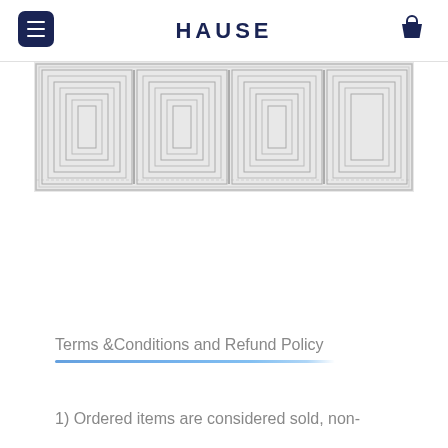HAUSE
[Figure (photo): A decorative rug or mat with geometric maze/labyrinth pattern in gray and white tones, partially cropped at top]
Terms &Conditions and Refund Policy
1) Ordered items are considered sold, non-